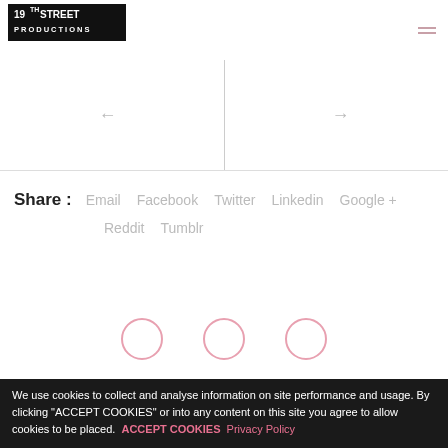[Figure (logo): 19th Street Productions logo — black rectangle with white bold text '19TH STREET' and 'PRODUCTIONS' below]
[Figure (infographic): Navigation area with a vertical center divider, left arrow on left half, right arrow on right half]
Share :   Email   Facebook   Twitter   Linkedin   Google +   Reddit   Tumblr
[Figure (infographic): Three partially visible circle outlines (pink/rose color) at the bottom of the page above the cookie banner]
We use cookies to collect and analyse information on site performance and usage. By clicking "ACCEPT COOKIES" or into any content on this site you agree to allow cookies to be placed.  ACCEPT COOKIES  Privacy Policy